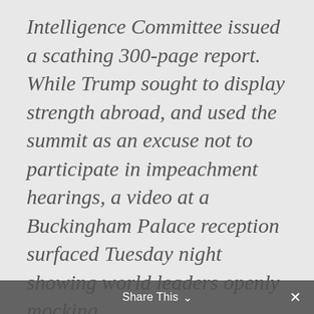Intelligence Committee issued a scathing 300-page report. While Trump sought to display strength abroad, and used the summit as an excuse not to participate in impeachment hearings, a video at a Buckingham Palace reception surfaced Tuesday night showing world leaders openly mocking
Share This ∨  ✕